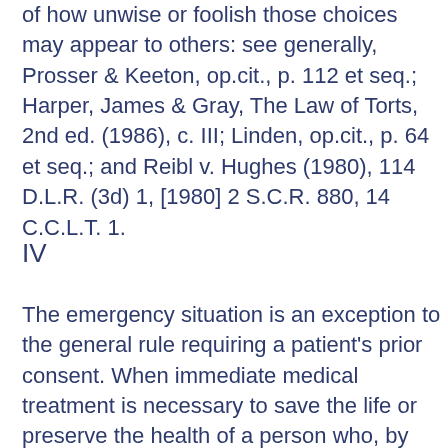of how unwise or foolish those choices may appear to others: see generally, Prosser & Keeton, op.cit., p. 112 et seq.; Harper, James & Gray, The Law of Torts, 2nd ed. (1986), c. III; Linden, op.cit., p. 64 et seq.; and Reibl v. Hughes (1980), 114 D.L.R. (3d) 1, [1980] 2 S.C.R. 880, 14 C.C.L.T. 1.
IV
The emergency situation is an exception to the general rule requiring a patient's prior consent. When immediate medical treatment is necessary to save the life or preserve the health of a person who, by reason of unconsciousness or extreme illness, is